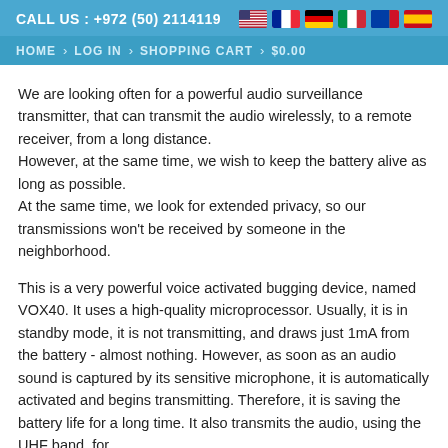CALL US : +972 (50) 2114119
HOME > LOG IN > SHOPPING CART > $0.00
We are looking often for a powerful audio surveillance transmitter, that can transmit the audio wirelessly, to a remote receiver, from a long distance.
However, at the same time, we wish to keep the battery alive as long as possible.
At the same time, we look for extended privacy, so our transmissions won't be received by someone in the neighborhood.
This is a very powerful voice activated bugging device, named VOX40. It uses a high-quality microprocessor. Usually, it is in standby mode, it is not transmitting, and draws just 1mA from the battery - almost nothing. However, as soon as an audio sound is captured by its sensitive microphone, it is automatically activated and begins transmitting. Therefore, it is saving the battery life for a long time. It also transmits the audio, using the UHF band, for